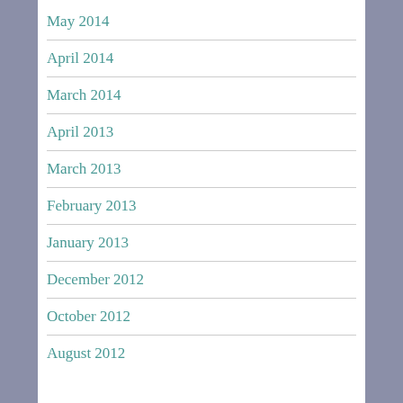May 2014
April 2014
March 2014
April 2013
March 2013
February 2013
January 2013
December 2012
October 2012
August 2012